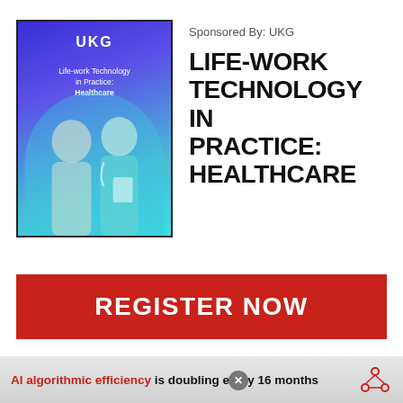[Figure (illustration): Book cover for 'Life-work Technology in Practice: Healthcare' by UKG, showing two healthcare workers (nurses) on a blue-to-teal gradient background with the UKG logo at the top.]
Sponsored By: UKG
LIFE-WORK TECHNOLOGY IN PRACTICE: HEALTHCARE
REGISTER NOW
AI algorithmic efficiency is doubling every 16 months